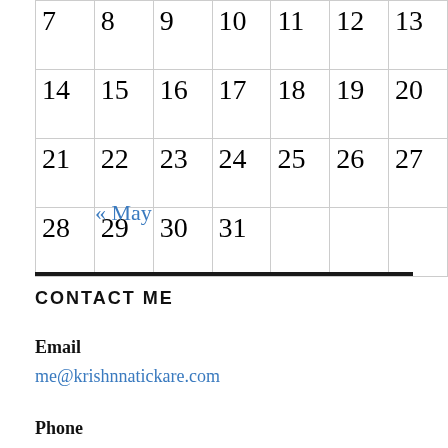| 7 | 8 | 9 | 10 | 11 | 12 | 13 |
| 14 | 15 | 16 | 17 | 18 | 19 | 20 |
| 21 | 22 | 23 | 24 | 25 | 26 | 27 |
| 28 | 29 | 30 | 31 |  |  |  |
« May
CONTACT ME
Email
me@krishnnatickare.com
Phone